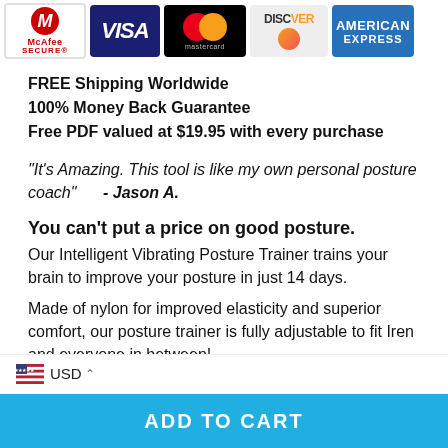[Figure (illustration): Payment security badges: McAfee Secure, Visa, Mastercard, Discover, American Express]
FREE Shipping Worldwide
100% Money Back Guarantee
Free PDF valued at $19.95 with every purchase
"It's Amazing. This tool is like my own personal posture coach" - Jason A.
You can't put a price on good posture.
Our Intelligent Vibrating Posture Trainer trains your brain to improve your posture in just 14 days.
Made of nylon for improved elasticity and superior comfort, our posture trainer is fully adjustable to fit Iren and everyone in between!
USD
ADD TO CART